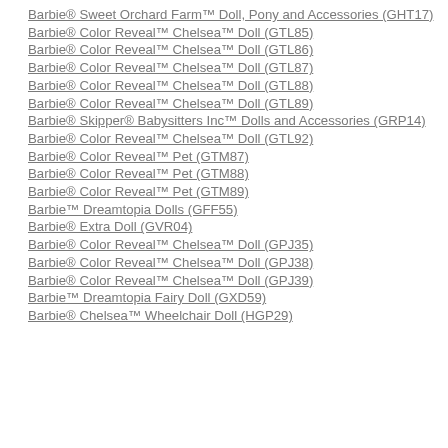Barbie® Sweet Orchard Farm™ Doll, Pony and Accessories (GHT17)
Barbie® Color Reveal™ Chelsea™ Doll (GTL85)
Barbie® Color Reveal™ Chelsea™ Doll (GTL86)
Barbie® Color Reveal™ Chelsea™ Doll (GTL87)
Barbie® Color Reveal™ Chelsea™ Doll (GTL88)
Barbie® Color Reveal™ Chelsea™ Doll (GTL89)
Barbie® Skipper® Babysitters Inc™ Dolls and Accessories (GRP14)
Barbie® Color Reveal™ Chelsea™ Doll (GTL92)
Barbie® Color Reveal™ Pet (GTM87)
Barbie® Color Reveal™ Pet (GTM88)
Barbie® Color Reveal™ Pet (GTM89)
Barbie™ Dreamtopia Dolls (GFF55)
Barbie® Extra Doll (GVR04)
Barbie® Color Reveal™ Chelsea™ Doll (GPJ35)
Barbie® Color Reveal™ Chelsea™ Doll (GPJ38)
Barbie® Color Reveal™ Chelsea™ Doll (GPJ39)
Barbie™ Dreamtopia Fairy Doll (GXD59)
Barbie® Chelsea™ Wheelchair Doll (HGP29)